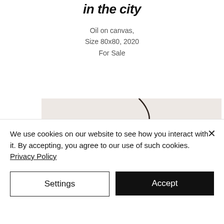in the city
Oil on canvas,
Size 80x80, 2020
For Sale
[Figure (photo): Close-up partial view of a painting showing abstract dark curving lines on a light pinkish-beige background, oil on canvas]
We use cookies on our website to see how you interact with it. By accepting, you agree to our use of such cookies. Privacy Policy
Settings
Accept